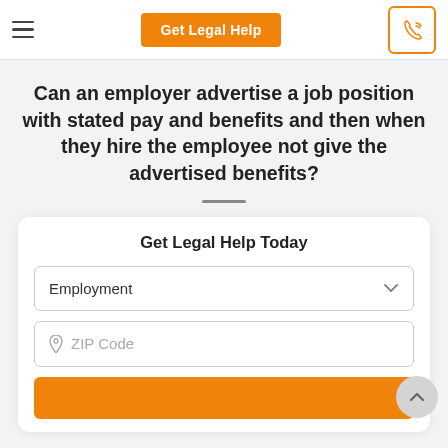Get Legal Help
Can an employer advertise a job position with stated pay and benefits and then when they hire the employee not give the advertised benefits?
Get Legal Help Today
Employment (dropdown)
ZIP Code (input)